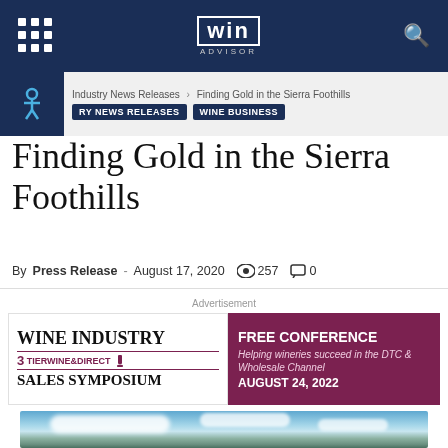WIN ADVISOR
Industry News Releases > Finding Gold in the Sierra Foothills
RY NEWS RELEASES   WINE BUSINESS
Finding Gold in the Sierra Foothills
By Press Release - August 17, 2020  257  0
Advertisement
[Figure (other): Wine Industry Sales Symposium advertisement banner with 3TierWine&Direct logo on left and 'FREE CONFERENCE – Helping wineries succeed in the DTC & Wholesale Channel – AUGUST 24, 2022' on purple right panel]
[Figure (photo): Photo of sky with clouds over hills or vineyard landscape]